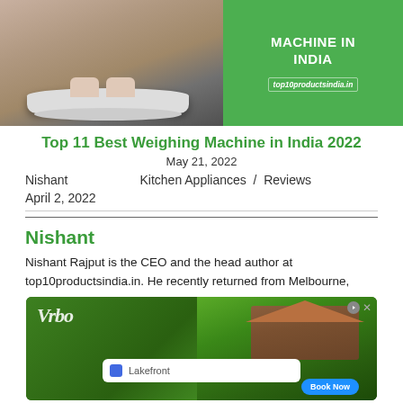[Figure (photo): Banner image showing a weighing machine with feet standing on it on the left, and a green background with text 'MACHINE IN INDIA' and 'top10productsindia.in' on the right]
Top 11 Best Weighing Machine in India 2022
May 21, 2022
Nishant   Kitchen Appliances  /  Reviews
April 2, 2022
Nishant
Nishant Rajput is the CEO and the head author at top10productsindia.in. He recently returned from Melbourne,
[Figure (screenshot): Vrbo advertisement showing a lakefront cabin with a search bar reading 'Lakefront' and a Book Now button]